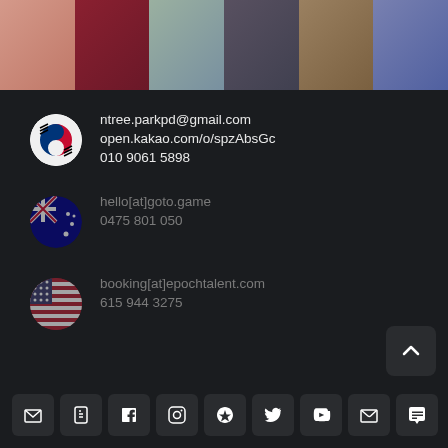[Figure (photo): Strip of six fashion/portrait photos of women at top of page]
ntree.parkpd@gmail.com
open.kakao.com/o/spzAbsGc
010 9061 5898
hello[at]goto.game
0475 801 050
booking[at]epochtalent.com
615 944 3275
Social media icon buttons row